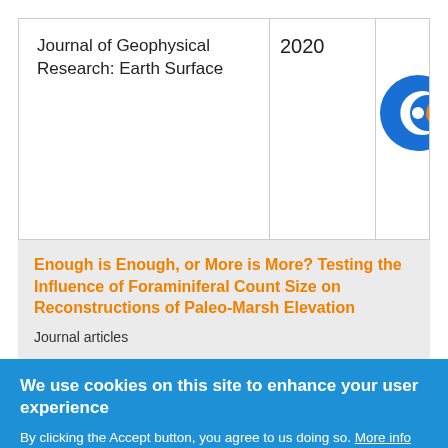| Journal | Year | Chart | Logo |
| --- | --- | --- | --- |
| Journal of Geophysical Research: Earth Surface | 2020 | [chart] | [logo] |
Enough is Enough, or More is More? Testing the Influence of Foraminiferal Count Size on Reconstructions of Paleo-Marsh Elevation
Journal articles
We use cookies on this site to enhance your user experience
By clicking the Accept button, you agree to us doing so. More info
Accept  No, thanks